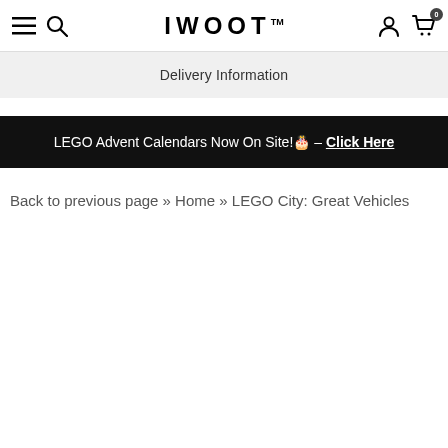IWOOT™ navigation bar with hamburger menu, search, logo, user icon, and cart (0)
Delivery Information
LEGO Advent Calendars Now On Site!🎄 – Click Here
Back to previous page » Home » LEGO City: Great Vehicles